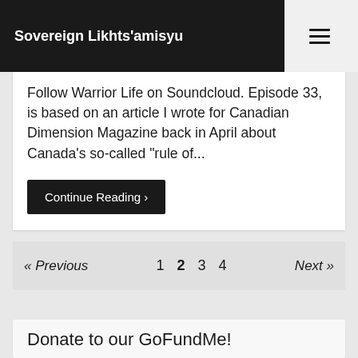Sovereign Likhts'amisyu
Follow Warrior Life on Soundcloud. Episode 33, is based on an article I wrote for Canadian Dimension Magazine back in April about Canada's so-called "rule of...
Continue Reading »
« Previous  1  2  3  4  Next »
Donate to our GoFundMe!